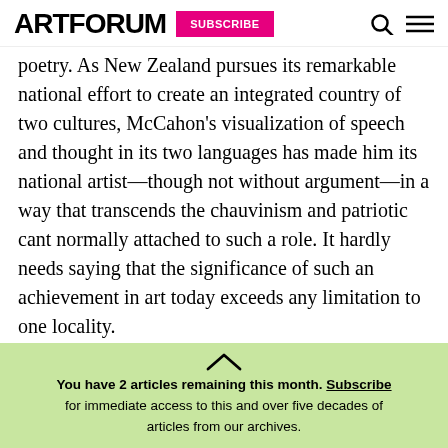ARTFORUM | SUBSCRIBE
poetry. As New Zealand pursues its remarkable national effort to create an integrated country of two cultures, McCahon’s visualization of speech and thought in its two languages has made him its national artist—though not without argument—in a way that transcends the chauvinism and patriotic cant normally attached to such a role. It hardly needs saying that the significance of such an achievement in art today exceeds any limitation to one locality.
You have 2 articles remaining this month. Subscribe for immediate access to this and over five decades of articles from our archives.